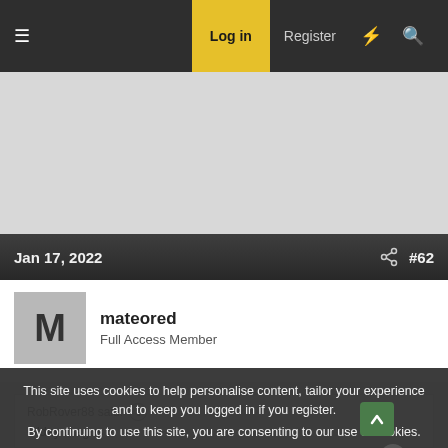≡  Log in  Register  ⚡  🔍
[Figure (other): Advertisement/blank gray area]
Jan 17, 2022   #62
mateored
Full Access Member
RobRover88 said: ↑
G'day magus
This site uses cookies to help personalise content, tailor your experience and to keep you logged in if you register.
By continuing to use this site, you are consenting to our use of cookies.
✓ Accept   Learn more...